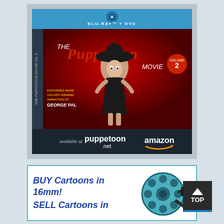[Figure (photo): Advertisement for The Puppetoon Movie Volume 2 Blu-Ray + DVD. Shows a puppet doll in a black dress and hat against a red background. Text reads 'Arnold Leibovit Presents The Puppetoon Movie Volume 2, Featuring more Oscar-winning animation of George Pal'. Bottom shows 'available at puppetoon.net amazon'.]
[Figure (illustration): Advertisement with teal film reel illustration. Text reads 'BUY Cartoons in 16mm! SELL Cartoons in' in bold blue italic. A film reel with a strip of film is shown to the right.]